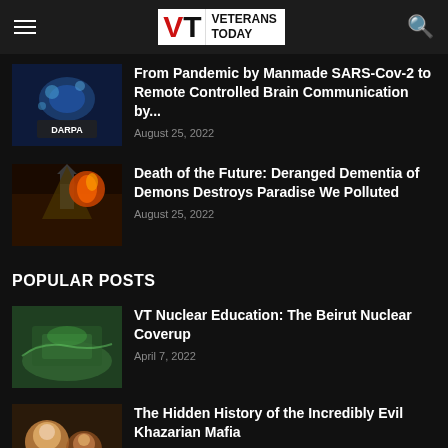Veterans Today
From Pandemic by Manmade SARS-Cov-2 to Remote Controlled Brain Communication by... | August 25, 2022
Death of the Future: Deranged Dementia of Demons Destroys Paradise We Polluted | August 25, 2022
POPULAR POSTS
VT Nuclear Education: The Beirut Nuclear Coverup | April 7, 2022
The Hidden History of the Incredibly Evil Khazarian Mafia